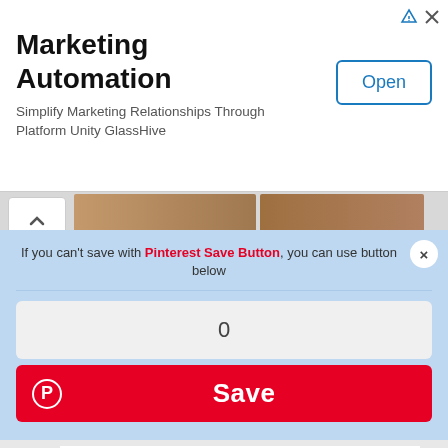[Figure (screenshot): Advertisement banner for Marketing Automation - GlassHive platform with Open button]
Marketing Automation
Simplify Marketing Relationships Through Platform Unity GlassHive
[Figure (screenshot): Pinterest Save Button overlay UI with close button, count display showing 0, and red Save button with Pinterest logo]
If you can't save with Pinterest Save Button, you can use button below
0
Save